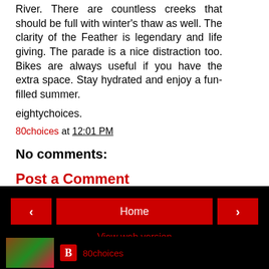River. There are countless creeks that should be full with winter's thaw as well. The clarity of the Feather is legendary and life giving. The parade is a nice distraction too. Bikes are always useful if you have the extra space. Stay hydrated and enjoy a fun-filled summer.
eightychoices.
80choices at 12:01 PM
No comments:
Post a Comment
< Home > View web version 80choices